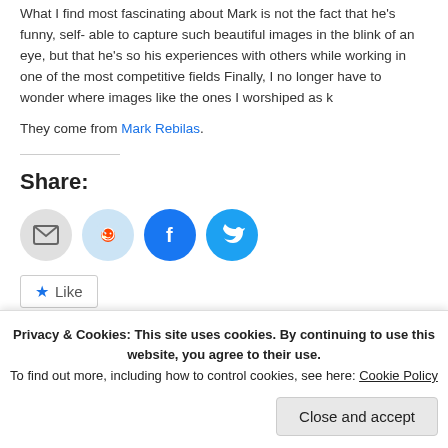What I find most fascinating about Mark is not the fact that he's funny, self-deprecating, able to capture such beautiful images in the blink of an eye, but that he's so willing to share his experiences with others while working in one of the most competitive fields. Finally, I no longer have to wonder where images like the ones I worshiped as k
They come from Mark Rebilas.
Share:
[Figure (other): Row of share icons: email (grey circle), reddit (light blue circle), facebook (blue circle), twitter (cyan circle)]
Like
Privacy & Cookies: This site uses cookies. By continuing to use this website, you agree to their use. To find out more, including how to control cookies, see here: Cookie Policy
Close and accept